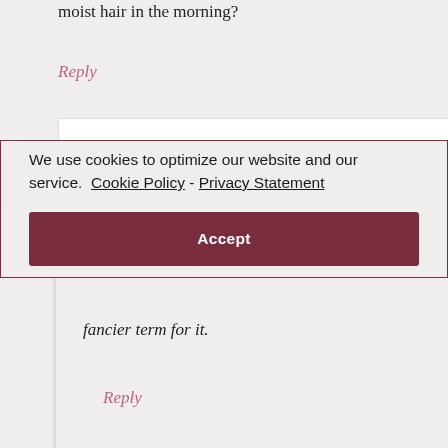moist hair in the morning?
Reply
We use cookies to optimize our website and our service.  Cookie Policy  -  Privacy Statement
Accept
fancier term for it.
Reply